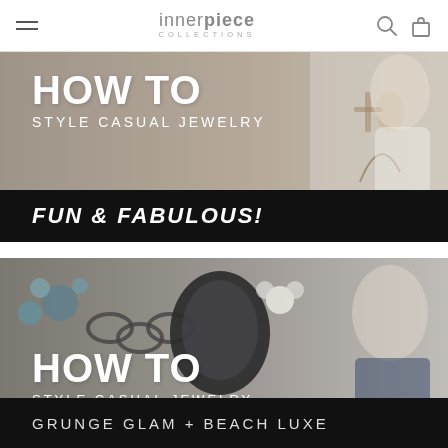innerpiece COLLECTIONS
[Figure (photo): Banner image: HOW TO STYLE CASUAL JEWELRY - FUN & FABULOUS! with jewelry and woman in white dress]
[Figure (photo): Banner image: HOW TO STYLE CASUAL JEWELRY - GRUNGE GLAM + BEACH LUXE with jewelry and woman in plaid shirt]